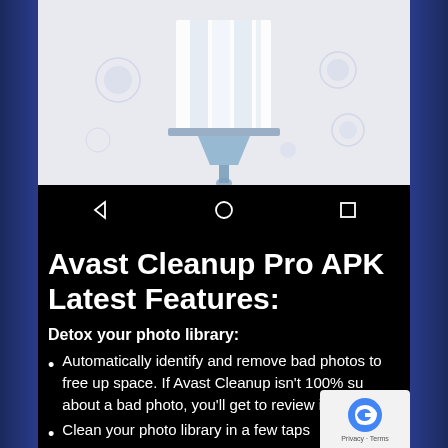[Figure (screenshot): App screenshot showing a cleaning/filter illustration with white funnel/filter graphic on light blue-gray background with bubble decorations]
[Figure (screenshot): Android navigation bar showing back (triangle), home (circle), and recents (square) buttons on black background]
Avast Cleanup Pro APK Latest Features:
Detox your photo library:
Automatically identify and remove bad photos to free up space. If Avast Cleanup isn't 100% sure about a bad photo, you'll get to review it.
Clean your photo library in a few taps
Get rid of duplicate, similar, old, and poor quality